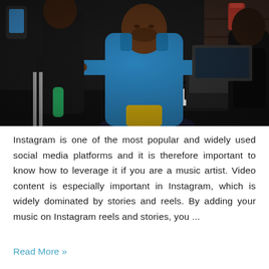[Figure (photo): A man in a blue hoodie playing a keyboard/synthesizer at what appears to be a music event or studio session. Other people are visible in the background. The setting is dark with brick walls.]
Instagram is one of the most popular and widely used social media platforms and it is therefore important to know how to leverage it if you are a music artist. Video content is especially important in Instagram, which is widely dominated by stories and reels. By adding your music on Instagram reels and stories, you ...
Read More »